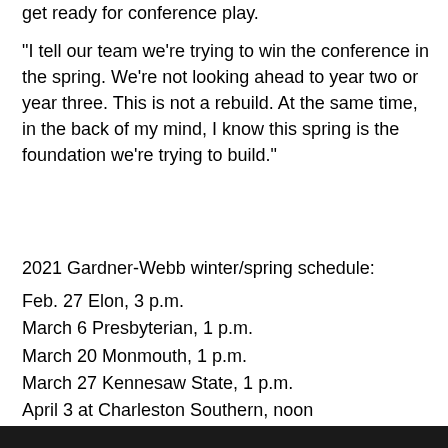get ready for conference play.
“I tell our team we’re trying to win the conference in the spring. We’re not looking ahead to year two or year three. This is not a rebuild. At the same time, in the back of my mind, I know this spring is the foundation we’re trying to build.”
2021 Gardner-Webb winter/spring schedule:
Feb. 27 Elon, 3 p.m.
March 6 Presbyterian, 1 p.m.
March 20 Monmouth, 1 p.m.
March 27 Kennesaw State, 1 p.m.
April 3 at Charleston Southern, noon
April 10 at Robert Morris, noon